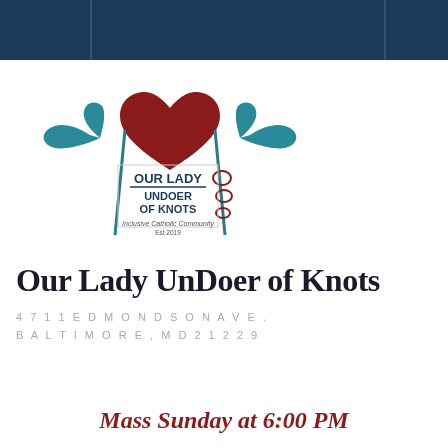[Figure (logo): Our Lady UnDoer of Knots logo: two teal/blue stylized bird-wing hands holding knitting needles with a dark red heart above, and text 'OUR LADY / UNDOER / OF KNOTS / Inclusive Catholic Community / Est 2019']
Our Lady UnDoer of Knots
4711 EDMONDSON AVE.
BALTIMORE, MD 21229
Mass Sunday at 6:00 PM